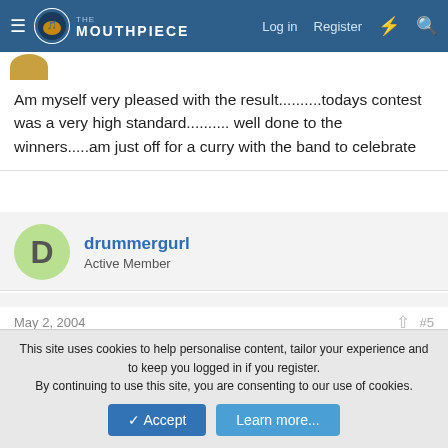The Mouthpiece | Log in | Register
Am myself very pleased with the result..........todays contest was a very high standard.......... well done to the winners.....am just off for a curry with the band to celebrate
drummergurl
Active Member
May 2, 2004  #5
in the second section greenalls came 5th out of 7. erm boarshurst won the 3rd i think
This site uses cookies to help personalise content, tailor your experience and to keep you logged in if you register.
By continuing to use this site, you are consenting to our use of cookies.